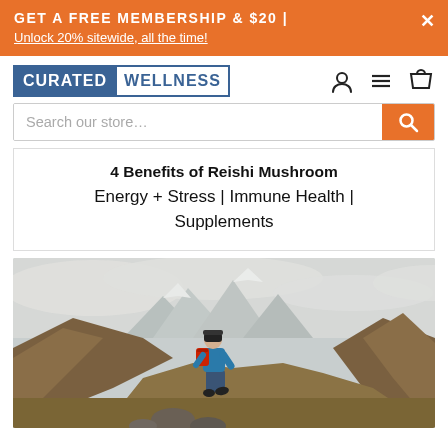GET A FREE MEMBERSHIP & $20 | Unlock 20% sitewide, all the time!
[Figure (logo): Curated Wellness logo with blue background for CURATED and outlined WELLNESS text]
Search our store...
4 Benefits of Reishi Mushroom Energy + Stress | Immune Health | Supplements
[Figure (photo): Person wearing a blue jacket and red backpack hiking in a mountain valley landscape with rocky terrain, brown hills, and snow-capped mountains in the background under an overcast sky]